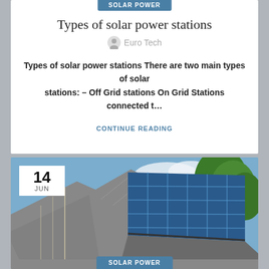SOLAR POWER
Types of solar power stations
Euro Tech
Types of solar power stations There are two main types of solar stations: – Off Grid stations On Grid Stations connected t…
CONTINUE READING
[Figure (photo): Photo of solar panels installed on a residential roof with blue sky and trees in background. A date badge shows 14 JUN in the top left corner.]
SOLAR POWER